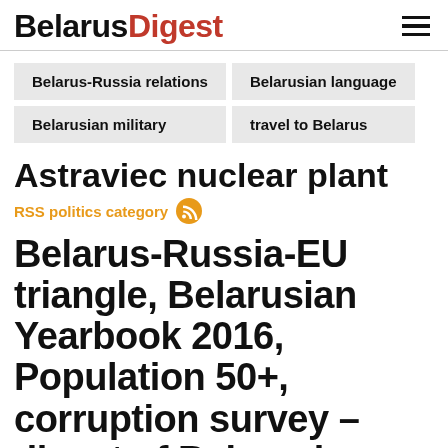BelarusDigest
Belarus-Russia relations
Belarusian language
Belarusian military
travel to Belarus
Astraviec nuclear plant
RSS politics category
Belarus-Russia-EU triangle, Belarusian Yearbook 2016, Population 50+, corruption survey – digest of Belarusian